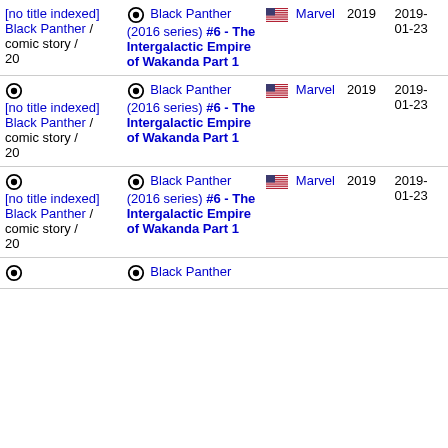| Story | Issue | Publisher | Year | Date |
| --- | --- | --- | --- | --- |
| [no title indexed] Black Panther / comic story / 20 | Black Panther (2016 series) #6 - The Intergalactic Empire of Wakanda Part 1 | Marvel | 2019 | 2019-01-23 |
| [no title indexed] Black Panther / comic story / 20 | Black Panther (2016 series) #6 - The Intergalactic Empire of Wakanda Part 1 | Marvel | 2019 | 2019-01-23 |
| [no title indexed] Black Panther / comic story / 20 | Black Panther (2016 series) #6 - The Intergalactic Empire of Wakanda Part 1 | Marvel | 2019 | 2019-01-23 |
| [no title indexed] Black Panther / comic story / 20 | Black Panther (2016 series) ... | Marvel | 2019 | 2019-01-23 |